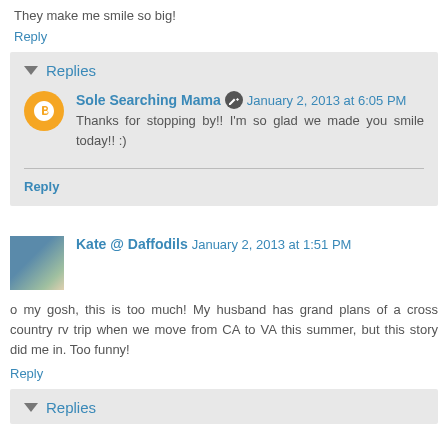They make me smile so big!
Reply
Replies
Sole Searching Mama  January 2, 2013 at 6:05 PM
Thanks for stopping by!! I'm so glad we made you smile today!! :)
Reply
Kate @ Daffodils  January 2, 2013 at 1:51 PM
o my gosh, this is too much! My husband has grand plans of a cross country rv trip when we move from CA to VA this summer, but this story did me in. Too funny!
Reply
Replies